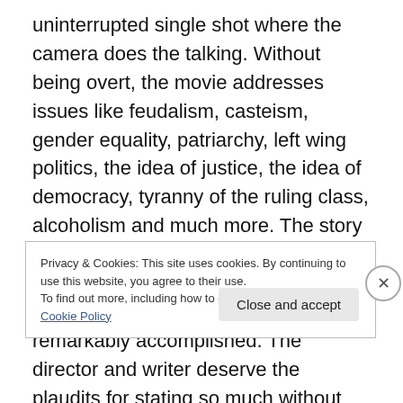uninterrupted single shot where the camera does the talking. Without being overt, the movie addresses issues like feudalism, casteism, gender equality, patriarchy, left wing politics, the idea of justice, the idea of democracy, tyranny of the ruling class, alcoholism and much more. The story is set on an election day when five friends get together for a booze fest. For a movie with first time actors, it is remarkably accomplished. The director and writer deserve the plaudits for stating so much without saying anything. Must see.
Privacy & Cookies: This site uses cookies. By continuing to use this website, you agree to their use.
To find out more, including how to control cookies, see here: Cookie Policy